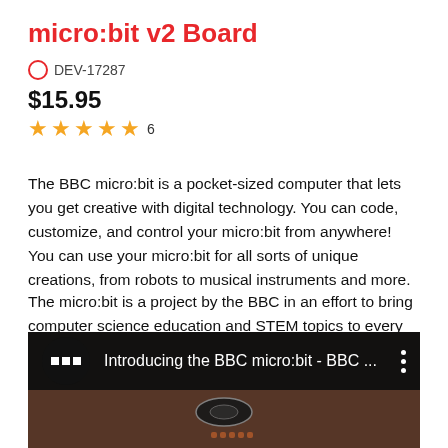micro:bit v2 Board
DEV-17287
$15.95
★★★★½ 6
The BBC micro:bit is a pocket-sized computer that lets you get creative with digital technology. You can code, customize, and control your micro:bit from anywhere! You can use your micro:bit for all sorts of unique creations, from robots to musical instruments and more.
The micro:bit is a project by the BBC in an effort to bring computer science education and STEM topics to every student in the United Kingdom. It is an open development board that works in sync with other onboard hardware components to get you started down the path of programming hardware.
[Figure (screenshot): YouTube video thumbnail showing 'Introducing the BBC micro:bit - BBC ...' with BBC logo circle icon, video title text, and three-dot menu icon, over a dark background with a micro:bit device visible below.]